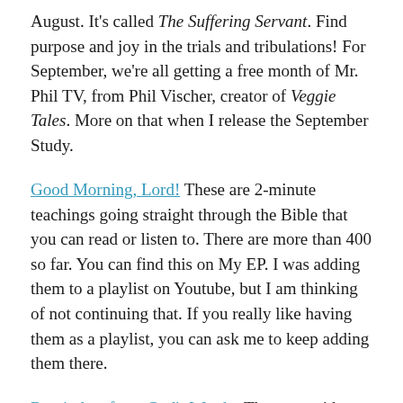August. It's called The Suffering Servant. Find purpose and joy in the trials and tribulations! For September, we're all getting a free month of Mr. Phil TV, from Phil Vischer, creator of Veggie Tales. More on that when I release the September Study.
Good Morning, Lord! These are 2-minute teachings going straight through the Bible that you can read or listen to. There are more than 400 so far. You can find this on My EP. I was adding them to a playlist on Youtube, but I am thinking of not continuing that. If you really like having them as a playlist, you can ask me to keep adding them there.
Reminders from God's Word – These are video teachings from various Scriptures. Lots on freedom from sin and God's working salvation in our lives. This is a new page